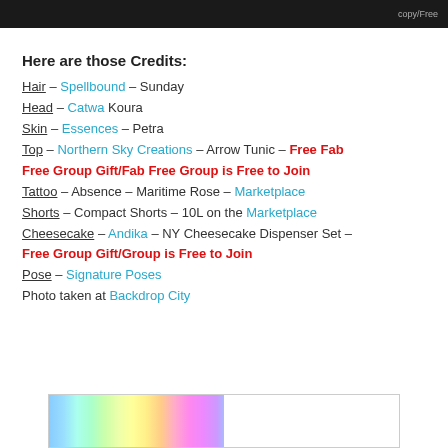[Figure (photo): Dark banner/header image at top of page with light text partially visible]
Here are those Credits:
Hair – Spellbound – Sunday
Head – Catwa Koura
Skin – Essences – Petra
Top – Northern Sky Creations – Arrow Tunic – Free Fab Free Group Gift/Fab Free Group is Free to Join
Tattoo – Absence – Maritime Rose – Marketplace
Shorts – Compact Shorts – 10L on the Marketplace
Cheesecake – Andika – NY Cheesecake Dispenser Set – Free Group Gift/Group is Free to Join
Pose – Signature Poses
Photo taken at Backdrop City
[Figure (illustration): Colorful rainbow gradient banner/image at the bottom of the page]